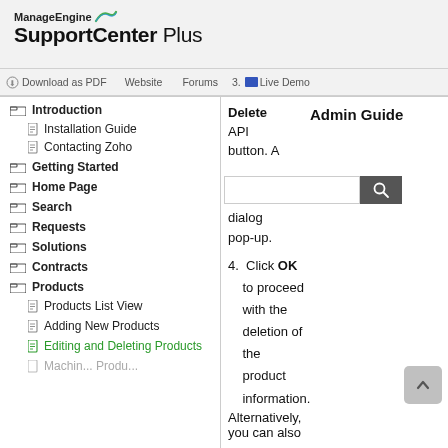ManageEngine SupportCenter Plus
Download as PDF   Website   Forums   3.   Live Demo
Introduction
Installation Guide
Contacting Zoho
Getting Started
Home Page
Search
Requests
Solutions
Contracts
Products
Products List View
Adding New Products
Editing and Deleting Products
Admin Guide
Delete API button. A dialog pop-up.
4. Click OK to proceed with the deletion of the product information.
Alternatively, you can also